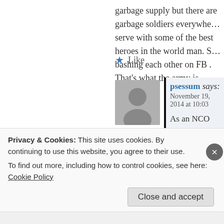garbage supply but there are garbage soldiers everywhere. I serve with some of the best heroes in the world man. Stop bashing each other on FB . That’s what the army is about
★ Like
psessum says: November 19, 2014 at 10:03
As an NCO and supply guy the term “atte… would like to point out the end of the article… all POGs that do their job with respect. A s… easier job. There is nothing wrong with hav…
Privacy & Cookies: This site uses cookies. By continuing to use this website, you agree to their use. To find out more, including how to control cookies, see here: Cookie Policy
Close and accept